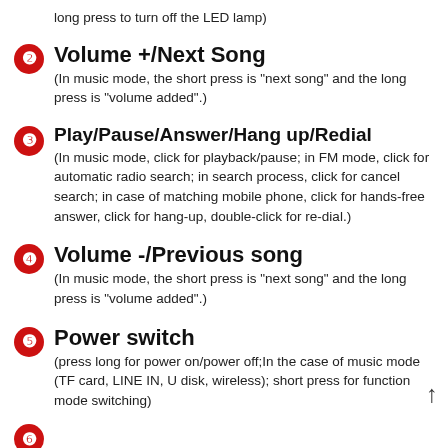long press to turn off the LED lamp)
2 Volume +/Next Song
(In music mode, the short press is "next song" and the long press is "volume added".)
3 Play/Pause/Answer/Hang up/Redial
(In music mode, click for playback/pause; in FM mode, click for automatic radio search; in search process, click for cancel search; in case of matching mobile phone, click for hands-free answer, click for hang-up, double-click for re-dial.)
4 Volume -/Previous song
(In music mode, the short press is "next song" and the long press is "volume added".)
5 Power switch
(press long for power on/power off;In the case of music mode (TF card, LINE IN, U disk, wireless); short press for function mode switching)
6 (partial, cut off)